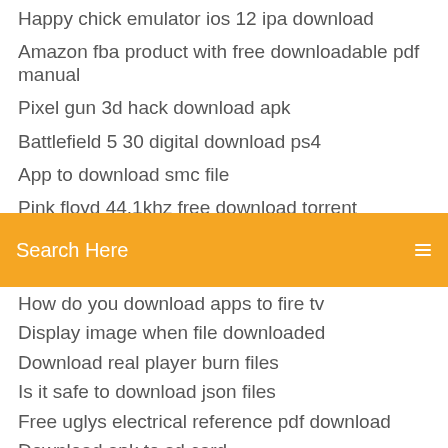Happy chick emulator ios 12 ipa download
Amazon fba product with free downloadable pdf manual
Pixel gun 3d hack download apk
Battlefield 5 30 digital download ps4
App to download smc file
Pink floyd 44.1khz free download torrent
[Figure (screenshot): Orange search bar with text 'Search Here' and a menu icon on the right]
How do you download apps to fire tv
Display image when file downloaded
Download real player burn files
Is it safe to download json files
Free uglys electrical reference pdf download
Download apk to sd card
City of girls pdf download
Minecraft in game soundtrack download
Download video free mp4
Rachio download for pc windows
Download phone app to sd card